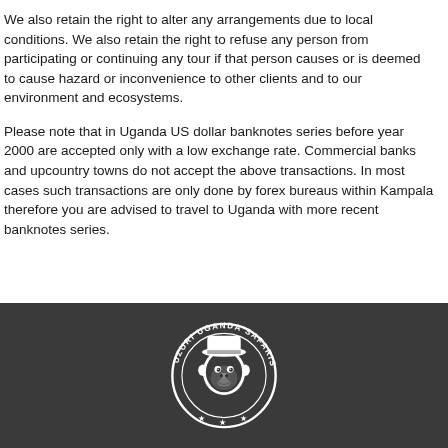We also retain the right to alter any arrangements due to local conditions. We also retain the right to refuse any person from participating or continuing any tour if that person causes or is deemed to cause hazard or inconvenience to other clients and to our environment and ecosystems.
Please note that in Uganda US dollar banknotes series before year 2000 are accepted only with a low exchange rate. Commercial banks and upcountry towns do not accept the above transactions. In most cases such transactions are only done by forex bureaus within Kampala therefore you are advised to travel to Uganda with more recent banknotes series.
[Figure (logo): Uzuri Uganda Safaris circular logo in white on dark grey background, featuring a gorilla face in the center surrounded by the text 'UZURI UGANDA SAFARIS' around the circle, with decorative stars at the bottom.]